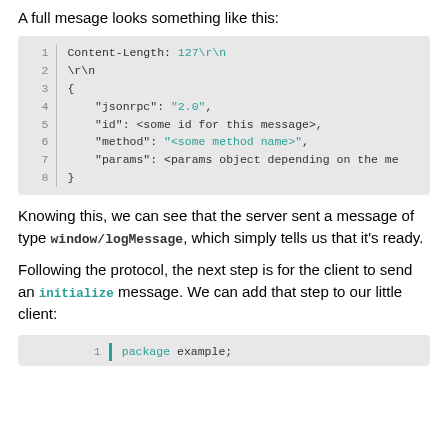A full mesage looks something like this:
[Figure (screenshot): Code block showing a JSON-RPC message with Content-Length header, lines 1-8]
Knowing this, we can see that the server sent a message of type window/logMessage, which simply tells us that it's ready.
Following the protocol, the next step is for the client to send an initialize message. We can add that step to our little client:
[Figure (screenshot): Code block showing line 1 with: package example;]